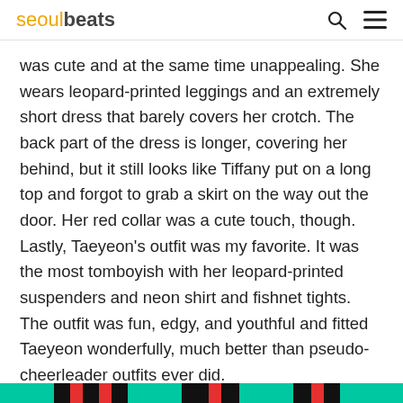seoulbeats
was cute and at the same time unappealing. She wears leopard-printed leggings and an extremely short dress that barely covers her crotch. The back part of the dress is longer, covering her behind, but it still looks like Tiffany put on a long top and forgot to grab a skirt on the way out the door. Her red collar was a cute touch, though. Lastly, Taeyeon's outfit was my favorite. It was the most tomboyish with her leopard-printed suspenders and neon shirt and fishnet tights. The outfit was fun, edgy, and youthful and fitted Taeyeon wonderfully, much better than pseudo-cheerleader outfits ever did.
[Figure (other): Colorful bottom strip banner with teal, black, and red sections]